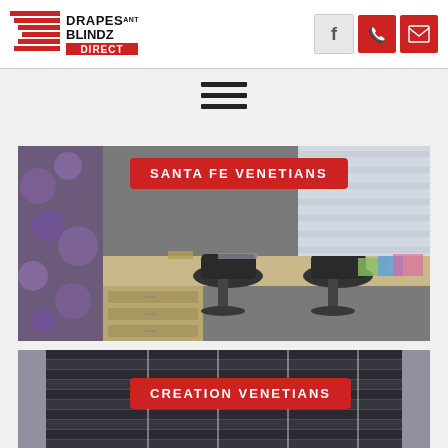[Figure (logo): Drapes & Blindz Direct logo with red horizontal stripes icon and bold text]
[Figure (infographic): Facebook icon in gray box, phone icon in red box, email icon in red box]
[Figure (other): Hamburger menu icon with three horizontal black bars]
[Figure (photo): Office workspace with venetian blinds visible on window, black desk chairs, colorful wallpaper]
SANTA FE VENETIANS
[Figure (photo): Dark venetian blinds close-up with white cords visible against light background]
CREATION VENETIANS